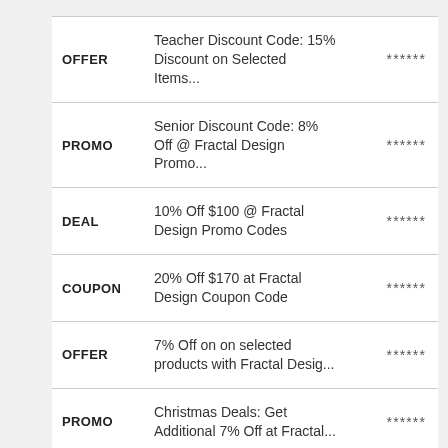| Type | Description | Rating |
| --- | --- | --- |
| OFFER | Teacher Discount Code: 15% Discount on Selected Items... | ****** |
| PROMO | Senior Discount Code: 8% Off @ Fractal Design Promo... | ****** |
| DEAL | 10% Off $100 @ Fractal Design Promo Codes | ****** |
| COUPON | 20% Off $170 at Fractal Design Coupon Code | ****** |
| OFFER | 7% Off on on selected products with Fractal Desig... | ****** |
| PROMO | Christmas Deals: Get Additional 7% Off at Fractal... | ****** |